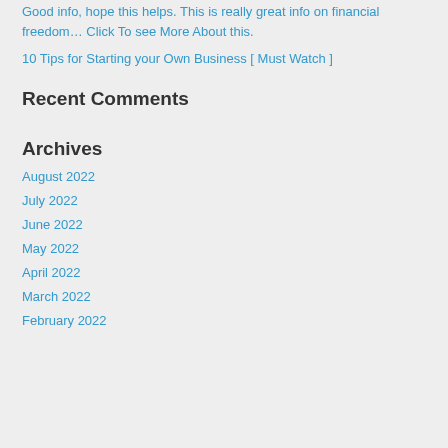Good info, hope this helps. This is really great info on financial freedom… Click To see More About this.
10 Tips for Starting your Own Business [ Must Watch ]
Recent Comments
Archives
August 2022
July 2022
June 2022
May 2022
April 2022
March 2022
February 2022